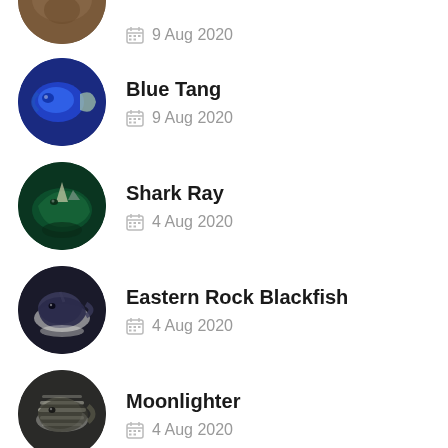9 Aug 2020 (partial item at top, name clipped)
Blue Tang — 9 Aug 2020
Shark Ray — 4 Aug 2020
Eastern Rock Blackfish — 4 Aug 2020
Moonlighter — 4 Aug 2020
Silver Bream (partial item at bottom)